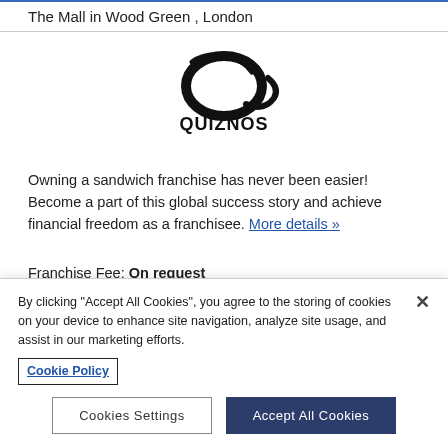The Mall in Wood Green , London
[Figure (logo): Quiznos logo — stylized Q with swoosh and 'Quiznos' wordmark in bold black]
Owning a sandwich franchise has never been easier! Become a part of this global success story and achieve financial freedom as a franchisee. More details »
Franchise Fee: On request
Investment: £100,000 - £200,000
By clicking "Accept All Cookies", you agree to the storing of cookies on your device to enhance site navigation, analyze site usage, and assist in our marketing efforts. Cookie Policy
Cookies Settings | Accept All Cookies